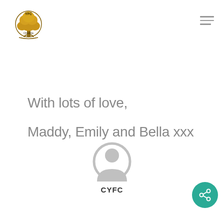[Figure (logo): YFC Cheshire logo — golden tree emblem with text]
With lots of love,
Maddy, Emily and Bella xxx
[Figure (illustration): Generic user avatar icon in grey]
CYFC